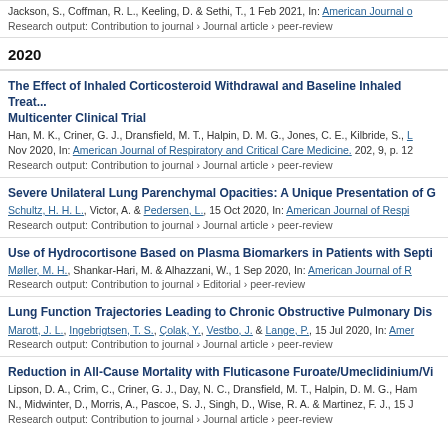Jackson, S., Coffman, R. L., Keeling, D. & Sethi, T., 1 Feb 2021, In: American Journal o...
Research output: Contribution to journal › Journal article › peer-review
2020
The Effect of Inhaled Corticosteroid Withdrawal and Baseline Inhaled Treatment on Multicenter Clinical Trial
Han, M. K., Criner, G. J., Dransfield, M. T., Halpin, D. M. G., Jones, C. E., Kilbride, S., ... Nov 2020, In: American Journal of Respiratory and Critical Care Medicine. 202, 9, p. 12...
Research output: Contribution to journal › Journal article › peer-review
Severe Unilateral Lung Parenchymal Opacities: A Unique Presentation of G...
Schultz, H. H. L., Victor, A. & Pedersen, L., 15 Oct 2020, In: American Journal of Respi...
Research output: Contribution to journal › Journal article › peer-review
Use of Hydrocortisone Based on Plasma Biomarkers in Patients with Septi...
Møller, M. H., Shankar-Hari, M. & Alhazzani, W., 1 Sep 2020, In: American Journal of R...
Research output: Contribution to journal › Editorial › peer-review
Lung Function Trajectories Leading to Chronic Obstructive Pulmonary Dis...
Marott, J. L., Ingebrigtsen, T. S., Çolak, Y., Vestbo, J. & Lange, P., 15 Jul 2020, In: Amer...
Research output: Contribution to journal › Journal article › peer-review
Reduction in All-Cause Mortality with Fluticasone Furoate/Umeclidinium/Vi...
Lipson, D. A., Crim, C., Criner, G. J., Day, N. C., Dransfield, M. T., Halpin, D. M. G., Ham... N., Midwinter, D., Morris, A., Pascoe, S. J., Singh, D., Wise, R. A. & Martinez, F. J., 15 J...
Research output: Contribution to journal › Journal article › peer-review